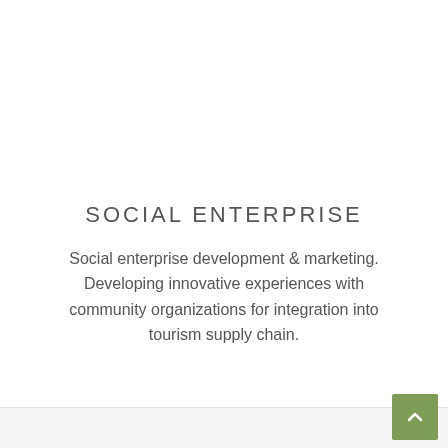SOCIAL ENTERPRISE
Social enterprise development & marketing. Developing innovative experiences with community organizations for integration into tourism supply chain.